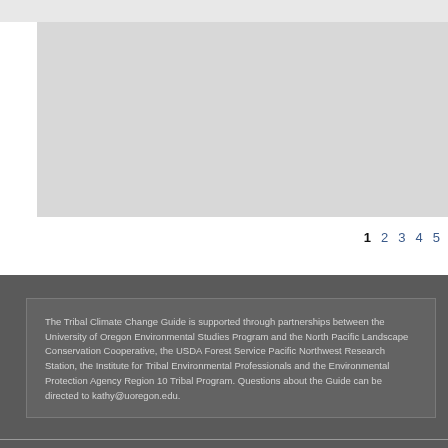[Figure (photo): Gray placeholder image box occupying the upper portion of the page]
1  2  3  4  5
The Tribal Climate Change Guide is supported through partnerships between the University of Oregon Environmental Studies Program and the North Pacific Landscape Conservation Cooperative, the USDA Forest Service Pacific Northwest Research Station, the Institute for Tribal Environmental Professionals and the Environmental Protection Agency Region 10 Tribal Program. Questions about the Guide can be directed to kathy@uoregon.edu.